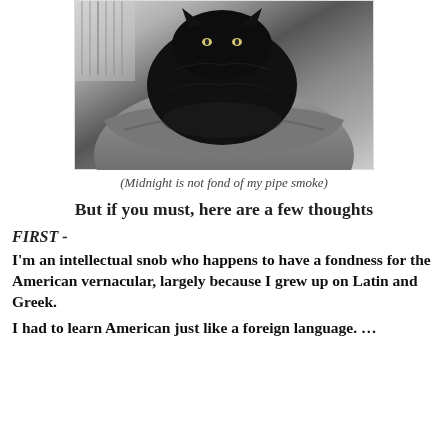[Figure (photo): Black and white photograph of a black cat being held by a person in a coat, with bookshelves in the background. The cat appears to be looking at the camera with glowing eyes.]
(Midnight is not fond of my pipe smoke)
But if you must, here are a few thoughts
FIRST -
I'm an intellectual snob who happens to have a fondness for the American vernacular, largely because I grew up on Latin and Greek.
I had to learn American just like a foreign language. …